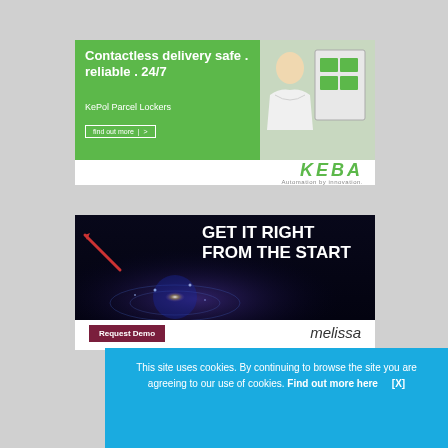[Figure (advertisement): KEBA advertisement for KePol Parcel Lockers. Green background with white bold text 'Contactless delivery safe . reliable . 24/7', subtext 'KePol Parcel Lockers', a 'find out more >' button, a woman smiling on the right side, and the KEBA logo with tagline 'Automation by innovation.']
[Figure (advertisement): Melissa advertisement with dark background, large white bold text 'GET IT RIGHT FROM THE START', a hand holding a dart on the left, glowing globe visual, a 'Request Demo' button in dark red, and the 'melissa' logo in italic.]
This site uses cookies. By continuing to browse the site you are agreeing to our use of cookies. Find out more here   [X]